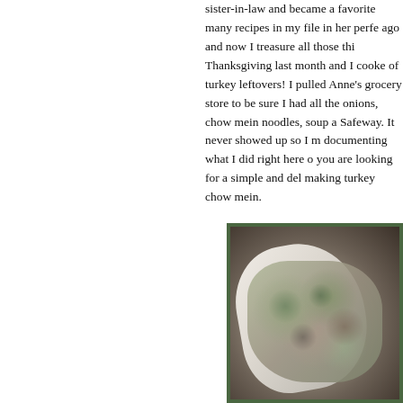sister-in-law and became a favorite many recipes in my file in her perfe ago and now I treasure all those thi Thanksgiving last month and I cooke of turkey leftovers!  I pulled Anne's grocery store to be sure I had all the onions, chow mein noodles, soup a Safeway.  It never showed up so I m documenting what I did right here o you are looking for a simple and del making turkey chow mein.
[Figure (photo): A plate of turkey chow mein with vegetables including peas, mushrooms, and water chestnuts in a creamy sauce, served on a white plate with a dark background.]